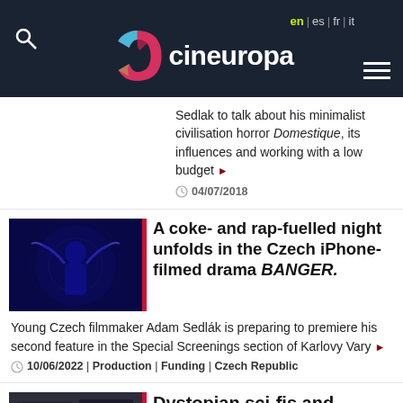cineuropa — en | es | fr | it
Sedlak to talk about his minimalist civilisation horror Domestique, its influences and working with a low budget ▶ 04/07/2018
A coke- and rap-fuelled night unfolds in the Czech iPhone-filmed drama BANGER.
Young Czech filmmaker Adam Sedlák is preparing to premiere his second feature in the Special Screenings section of Karlovy Vary ▶
10/06/2022 | Production | Funding | Czech Republic
Dystopian sci-fis and